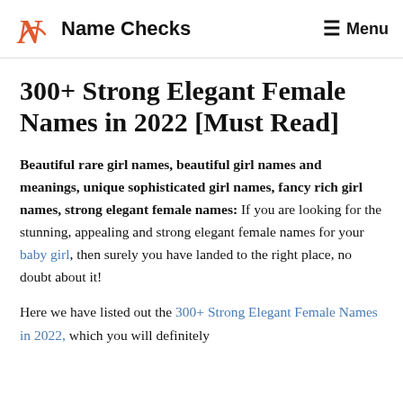Name Checks   Menu
300+ Strong Elegant Female Names in 2022 [Must Read]
Beautiful rare girl names, beautiful girl names and meanings, unique sophisticated girl names, fancy rich girl names, strong elegant female names: If you are looking for the stunning, appealing and strong elegant female names for your baby girl, then surely you have landed to the right place, no doubt about it!
Here we have listed out the 300+ Strong Elegant Female Names in 2022, which you will definitely